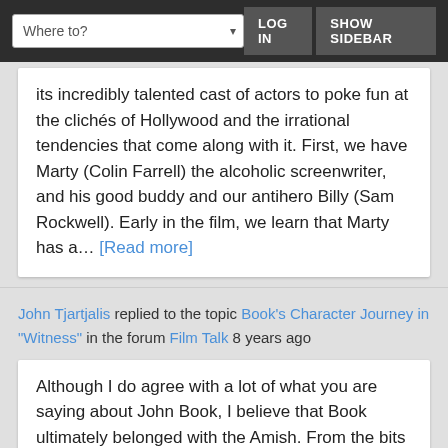Where to? | LOG IN | SHOW SIDEBAR
its incredibly talented cast of actors to poke fun at the clichés of Hollywood and the irrational tendencies that come along with it. First, we have Marty (Colin Farrell) the alcoholic screenwriter, and his good buddy and our antihero Billy (Sam Rockwell). Early in the film, we learn that Marty has a… [Read more]
John Tjartjalis replied to the topic Book's Character Journey in "Witness" in the forum Film Talk 8 years ago
Although I do agree with a lot of what you are saying about John Book, I believe that Book ultimately belonged with the Amish. From the bits and pieces we are given about Books past, he has